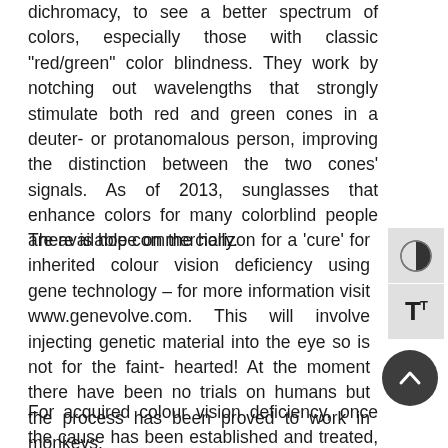dichromacy, to see a better spectrum of colors, especially those with classic "red/green" color blindness. They work by notching out wavelengths that strongly stimulate both red and green cones in a deuter- or protanomalous person, improving the distinction between the two cones' signals. As of 2013, sunglasses that enhance colors for many colorblind people are available commercially.
There is hope on the horizon for a 'cure' for inherited colour vision deficiency using gene technology – for more information visit www.genevolve.com. This will involve injecting genetic material into the eye so is not for the faint-hearted! At the moment there have been no trials on humans but the process has been proved to work in monkeys.
For acquired colour vision deficiency, once the cause has been established and treated, your vision